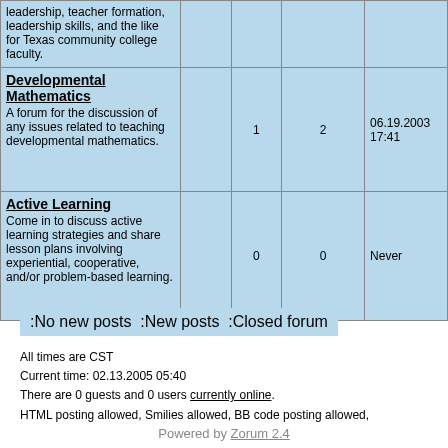| Forum |  | Topics | Posts | Last post | Moderator |
| --- | --- | --- | --- | --- | --- |
| leadership, teacher formation, leadership skills, and the like for Texas community college faculty. |  |  |  |  |  |
| Developmental Mathematics
A forum for the discussion of any issues related to teaching developmental mathematics. |  | 1 | 2 | 06.19.2003 17:41 | Not moderated |
| Active Learning
Come in to discuss active learning strategies and share lesson plans involving experiential, cooperative, and/or problem-based learning. |  | 0 | 0 | Never | Not moderated |
:No new posts :New posts :Closed forum
All times are CST
Current time: 02.13.2005 05:40
There are 0 guests and 0 users currently online.
HTML posting allowed, Smilies allowed, BB code posting allowed,
Powered by Zorum 2.4